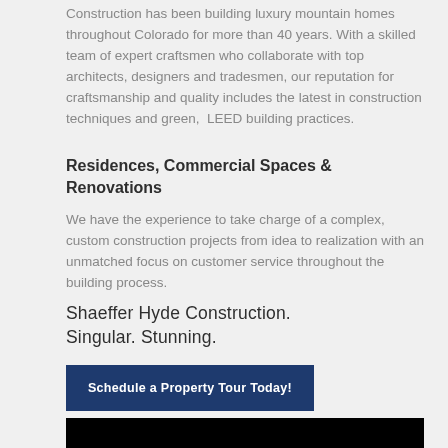Construction has been building luxury mountain homes throughout Colorado for more than 40 years. With a skilled team of expert craftsmen who collaborate with top architects, designers and tradesmen, our reputation for craftsmanship and quality includes the latest in construction techniques and green,  LEED building practices.
Residences, Commercial Spaces & Renovations
We have the experience to take charge of a complex, custom construction projects from idea to realization with an unmatched focus on customer service throughout the building process.
Shaeffer Hyde Construction. Singular. Stunning.
Schedule a Property Tour Today!
[Figure (other): Black bar/image strip at bottom of page]